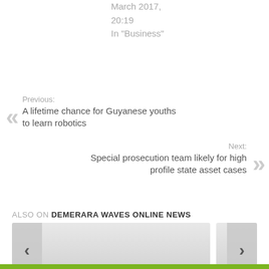March 2017, 20:19
In "Business"
Previous:
A lifetime chance for Guyanese youths to learn robotics
Next:
Special prosecution team likely for high profile state asset cases
ALSO ON DEMERARA WAVES ONLINE NEWS
ago • 1 comment